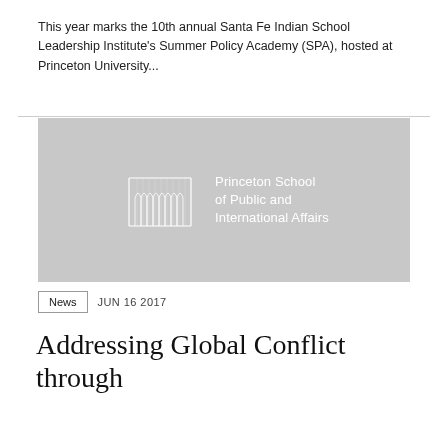This year marks the 10th annual Santa Fe Indian School Leadership Institute's Summer Policy Academy (SPA), hosted at Princeton University...
[Figure (logo): Princeton School of Public and International Affairs logo — white architectural arch illustration on gray background with school name text]
News   JUN 16 2017
Addressing Global Conflict through